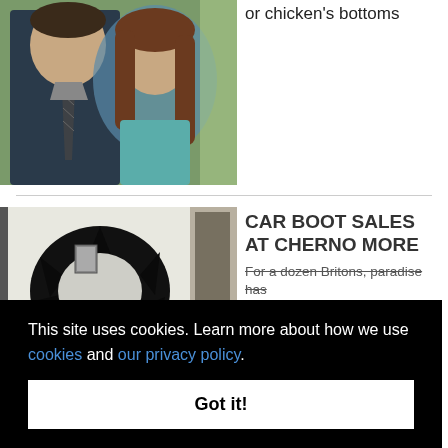[Figure (photo): A man in a dark suit with striped tie and a woman with long brown hair, posing together outdoors.]
or chicken's bottoms
[Figure (photo): A black sculptural art piece with spiky, organic forms displayed in what appears to be a gallery or building interior.]
CAR BOOT SALES AT CHERNO MORE
For a dozen Britons, paradise has
This site uses cookies. Learn more about how we use cookies and our privacy policy.
Got it!